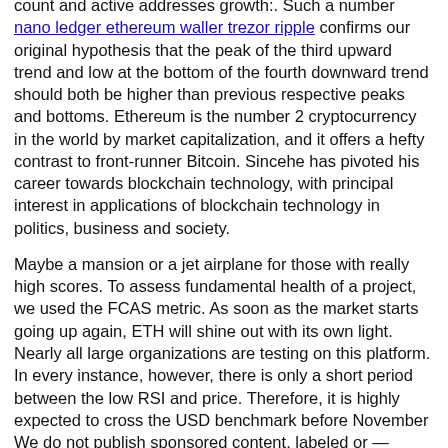count and active addresses growth:. Such a number nano ledger ethereum waller trezor ripple confirms our original hypothesis that the peak of the third upward trend and low at the bottom of the fourth downward trend should both be higher than previous respective peaks and bottoms. Ethereum is the number 2 cryptocurrency in the world by market capitalization, and it offers a hefty contrast to front-runner Bitcoin. Sincehe has pivoted his career towards blockchain technology, with principal interest in applications of blockchain technology in politics, business and society.
Maybe a mansion or a jet airplane for those with really high scores. To assess fundamental health of a project, we used the FCAS metric. As soon as the market starts going up again, ETH will shine out with its own light. Nearly all large organizations are testing on this platform. In every instance, however, there is only a short period between the low RSI and price. Therefore, it is highly expected to cross the USD benchmark before November We do not publish sponsored content, labeled or — worse yet — disingenuously unlabeled. FXStreet does not in any way guarantee that this information is free from how to activate gatehub wallet gatehub deposit fees, errors, or material misstatements. The DMI on the 4-hour chart shows us how the bears do not believe that this rise is over and remain at minimum levels. You will receive 3 books: Every resurgence of bitcoin in recent period, was met with